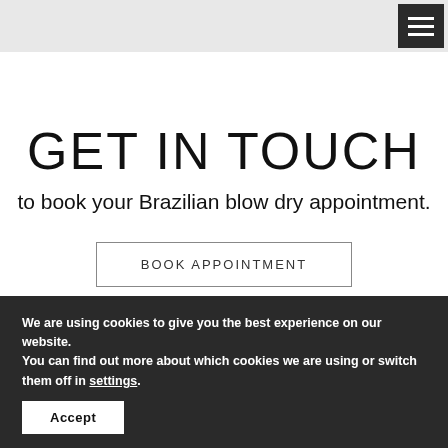GET IN TOUCH
to book your Brazilian blow dry appointment.
BOOK APPOINTMENT
We are using cookies to give you the best experience on our website.
You can find out more about which cookies we are using or switch them off in settings.
Accept